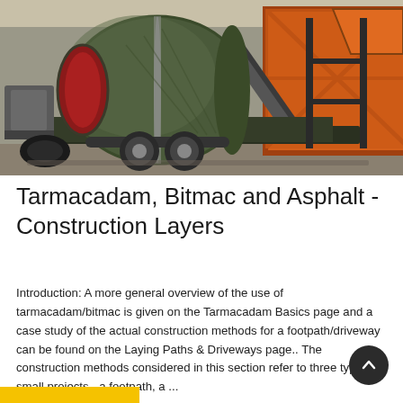[Figure (photo): Industrial mobile asphalt/tarmacadam mixing machine on a trailer inside a warehouse or factory. The machine features a large dark green cylindrical drum with a red interior visible on one end, mounted on a wheeled trailer with dual axles. Orange structural framing and conveyor components are visible in the background on the right side.]
Tarmacadam, Bitmac and Asphalt - Construction Layers
Introduction: A more general overview of the use of tarmacadam/bitmac is given on the Tarmacadam Basics page and a case study of the actual construction methods for a footpath/driveway can be found on the Laying Paths & Driveways page.. The construction methods considered in this section refer to three typical small projects - a footpath, a ...